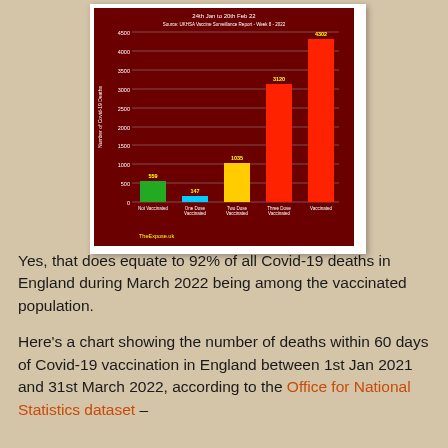[Figure (bar-chart): 24th Jan to 20th Feb 22 — Source: UKHSA Vaccine Surveillance Report - Week 8 - 2022]
Yes, that does equate to 92% of all Covid-19 deaths in England during March 2022 being among the vaccinated population.
Here's a chart showing the number of deaths within 60 days of Covid-19 vaccination in England between 1st Jan 2021 and 31st March 2022, according to the Office for National Statistics dataset –